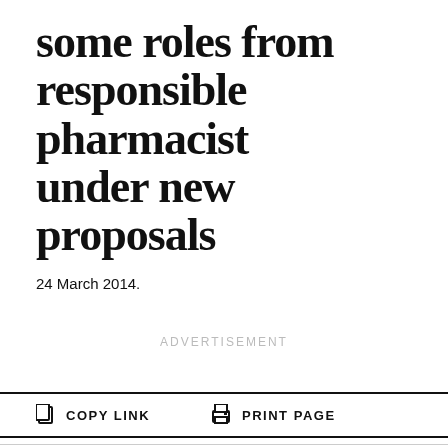some roles from responsible pharmacist under new proposals
24 March 2014.
ADVERTISEMENT
COPY LINK
PRINT PAGE
By clicking “Accept All Cookies”, you agree to the storing of cookies on your device to enhance site navigation, analyze site usage, and assist in our marketing efforts.